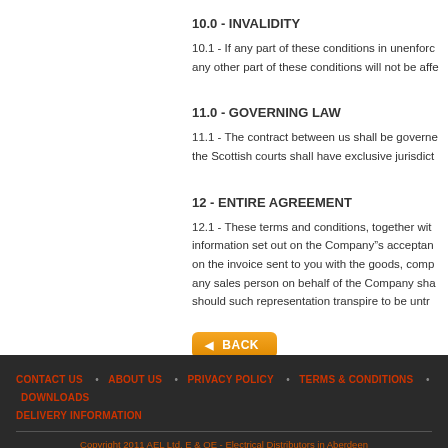10.0 - INVALIDITY
10.1 - If any part of these conditions in unenforc any other part of these conditions will not be affe
11.0 - GOVERNING LAW
11.1 - The contract between us shall be governe the Scottish courts shall have exclusive jurisdict
12 - ENTIRE AGREEMENT
12.1 - These terms and conditions, together wit information set out on the Company"s acceptan on the invoice sent to you with the goods, comp any sales person on behalf of the Company sha should such representation transpire to be untr
[Figure (other): Orange back button with left arrow and text BACK]
CONTACT US   ABOUT US   PRIVACY POLICY   TERMS & CONDITIONS   DOWNLOADS   DELIVERY INFORMATION
Copyright 2011 AEL Ltd, E & OE - Electrical Distributors in Aberdeen